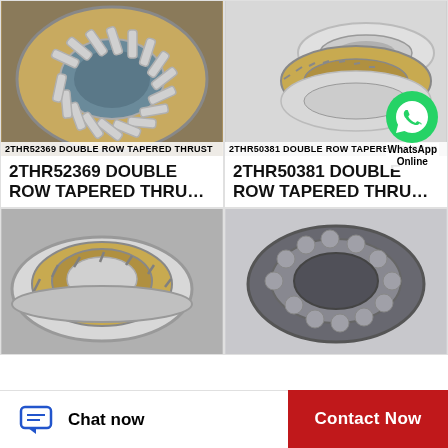[Figure (photo): Front-view photo of 2THR52369 double row tapered thrust bearing, gold/brass cage with silver rollers, circular shape]
2THR52369 DOUBLE ROW TAPERED THRUST
2THR52369 DOUBLE ROW TAPERED THRU…
[Figure (photo): Perspective photo of 2THR50381 double row tapered thrust bearing, disassembled showing gold cage with silver races]
2THR50381 DOUBLE ROW TAPERED THRUST
2THR50381 DOUBLE ROW TAPERED THRU…
[Figure (photo): Angled view of double row tapered thrust bearing with gold brass cage and silver steel races]
[Figure (photo): Top-down cross-section view of a cylindrical thrust bearing showing inner rollers]
Chat now
Contact Now